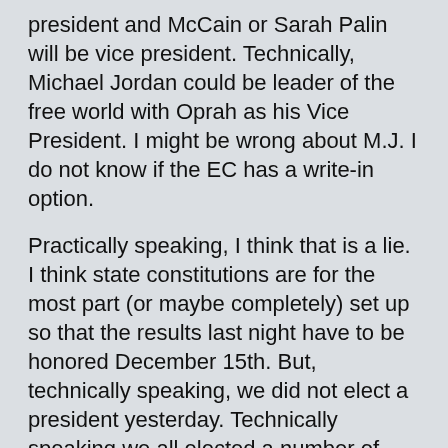president and McCain or Sarah Palin will be vice president. Technically, Michael Jordan could be leader of the free world with Oprah as his Vice President. I might be wrong about M.J. I do not know if the EC has a write-in option.
Practically speaking, I think that is a lie. I think state constitutions are for the most part (or maybe completely) set up so that the results last night have to be honored December 15th. But, technically speaking, we did not elect a president yesterday. Technically speaking we all elected a number of nameless, faceless people to the Electoral College who have pledged to vote as instructed by their state. Those people don't vote until December 15th.
I do not know what happens to someone who does not vote in the electoral college as their state instructed them to vote. My guess is that it varies by state. Texas probably shoots the guy. California probably whines and gives him (or her) a slap on the wrist. Actually, I think maybe it is totally legal for the Electoral College Representative to vote as they wish.
I also do not know if it has ever happened that an Electoral